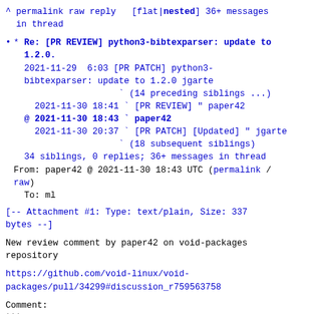^ permalink raw reply  [flat|nested] 36+ messages in thread
* Re: [PR REVIEW] python3-bibtexparser: update to 1.2.0.
  2021-11-29  6:03 [PR PATCH] python3-bibtexparser: update to 1.2.0 jgarte
                    ` (14 preceding siblings ...)
    2021-11-30 18:41 ` [PR REVIEW] " paper42
  @ 2021-11-30 18:43 ` paper42
    2021-11-30 20:37 ` [PR PATCH] [Updated] " jgarte
                    ` (18 subsequent siblings)
  34 siblings, 0 replies; 36+ messages in thread
From: paper42 @ 2021-11-30 18:43 UTC (permalink / raw)
  To: ml
[-- Attachment #1: Type: text/plain, Size: 337 bytes --]
New review comment by paper42 on void-packages repository
https://github.com/void-linux/void-packages/pull/34299#discussion_r759563758
Comment:
```suggestion
homepage="https://pypi.org/project/bibtexparser/"
```